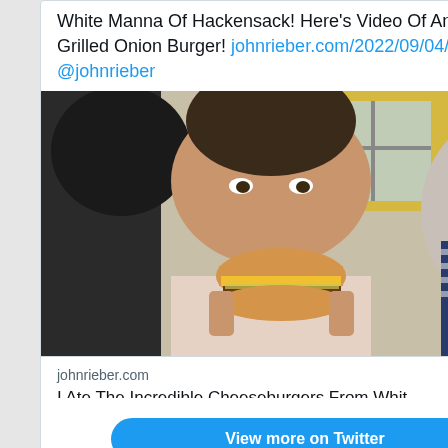White Manna Of Hackensack! Here's Video Of An Incredible Grilled Onion Burger! johnrieber.com/2022/09/04/i-a… via @johnrieber
[Figure (photo): Man holding up a cheeseburger close to the camera inside a diner, with yellow ceiling visible in background]
johnrieber.com
I Ate The Incredible Cheeseburgers From Whit…
[Figure (other): Comment and like icons (Twitter action buttons)]
View more on Twitter
Learn more about privacy...